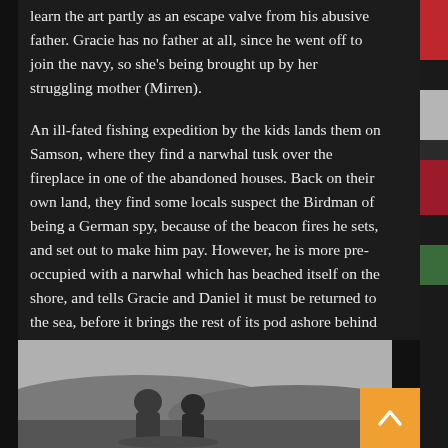learn the art partly as an escape valve from his abusive father. Gracie has no father at all, since he went off to join the navy, so she's being brought up by her struggling mother (Mirren).
An ill-fated fishing expedition by the kids lands them on Samson, where they find a narwhal tusk over the fireplace in one of the abandoned houses. Back on their own land, they find some locals suspect the Birdman of being a German spy, because of the beacon fires he sets, and set out to make him pay. However, he is more pre-occupied with a narwhal which has beached itself on the shore, and tells Gracie and Daniel it must be returned to the sea, before it brings the rest of its pod ashore behind it – an act that would bring doom to this island, as it did to Samson. Which is where the mob of villagers comes in...
[Figure (photo): Black and white photograph of two children outdoors, appearing to look at something on the ground, with hills or landscape in the background]